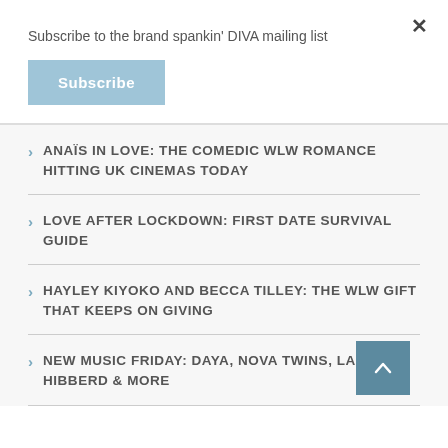Subscribe to the brand spankin' DIVA mailing list
Subscribe
×
ANAÏS IN LOVE: THE COMEDIC WLW ROMANCE HITTING UK CINEMAS TODAY
LOVE AFTER LOCKDOWN: FIRST DATE SURVIVAL GUIDE
HAYLEY KIYOKO AND BECCA TILLEY: THE WLW GIFT THAT KEEPS ON GIVING
NEW MUSIC FRIDAY: DAYA, NOVA TWINS, LAURAN HIBBERD & MORE